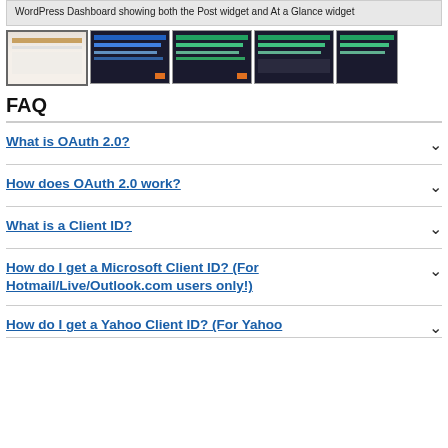WordPress Dashboard showing both the Post widget and At a Glance widget
[Figure (screenshot): Row of five thumbnail screenshots of a WordPress Dashboard]
FAQ
What is OAuth 2.0?
How does OAuth 2.0 work?
What is a Client ID?
How do I get a Microsoft Client ID? (For Hotmail/Live/Outlook.com users only!)
How do I get a Yahoo Client ID? (For Yahoo